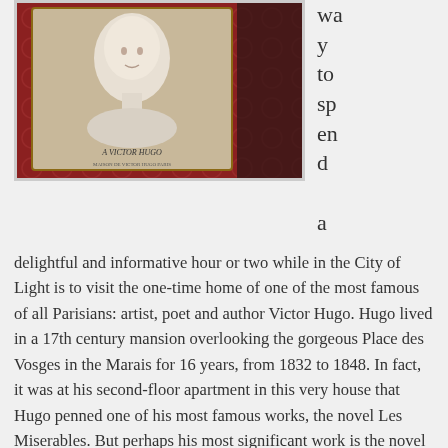[Figure (photo): A marble bust or plaque dedicated to Victor Hugo, with text reading 'A VICTOR HUGO' and additional inscription below, set against a red decorative background.]
way to spend a delightful and informative hour or two while in the City of Light is to visit the one-time home of one of the most famous of all Parisians: artist, poet and author Victor Hugo. Hugo lived in a 17th century mansion overlooking the gorgeous Place des Vosges in the Marais for 16 years, from 1832 to 1848. In fact, it was at his second-floor apartment in this very house that Hugo penned one of his most famous works, the novel Les Miserables. But perhaps his most significant work is the novel Notre-Dame de Paris (known in English as The Hunchback of Notre Dame), a book that is credited with saving Notre Dame Cathedral